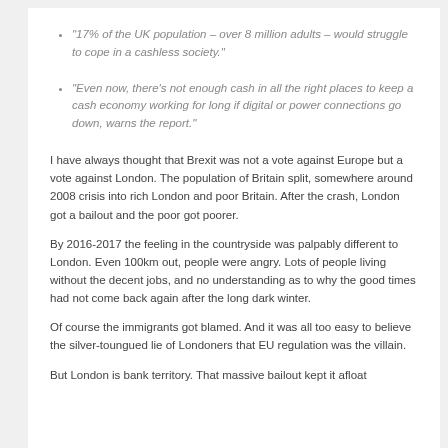"17% of the UK population – over 8 million adults – would struggle to cope in a cashless society."
"Even now, there's not enough cash in all the right places to keep a cash economy working for long if digital or power connections go down, warns the report."
I have always thought that Brexit was not a vote against Europe but a vote against London. The population of Britain split, somewhere around 2008 crisis into rich London and poor Britain. After the crash, London got a bailout and the poor got poorer.
By 2016-2017 the feeling in the countryside was palpably different to London. Even 100km out, people were angry. Lots of people living without the decent jobs, and no understanding as to why the good times had not come back again after the long dark winter.
Of course the immigrants got blamed. And it was all too easy to believe the silver-toungued lie of Londoners that EU regulation was the villain.
But London is bank territory. That massive bailout kept it afloat…